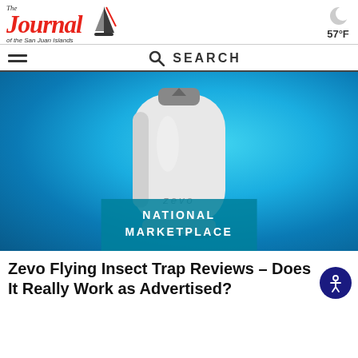The Journal of the San Juan Islands | 57°F
SEARCH
[Figure (photo): Zevo flying insect trap device — a white rounded rectangular plug-in device with a small gray notch at the top, on a blue gradient background. A teal banner overlay at the bottom reads NATIONAL MARKETPLACE.]
Zevo Flying Insect Trap Reviews – Does It Really Work as Advertised?